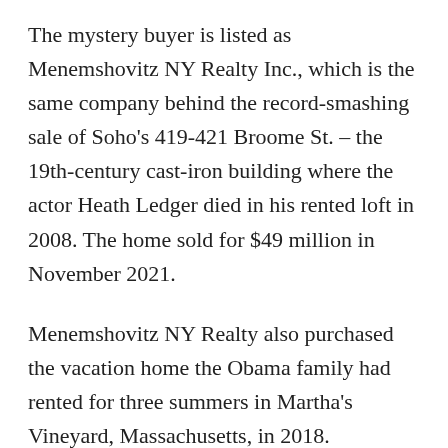The mystery buyer is listed as Menemshovitz NY Realty Inc., which is the same company behind the record-smashing sale of Soho's 419-421 Broome St. – the 19th-century cast-iron building where the actor Heath Ledger died in his rented loft in 2008. The home sold for $49 million in November 2021.
Menemshovitz NY Realty also purchased the vacation home the Obama family had rented for three summers in Martha's Vineyard, Massachusetts, in 2018.
Tal Alexander of Douglas Elliman represented the buyer.
The singer and the actress also have properties in Los